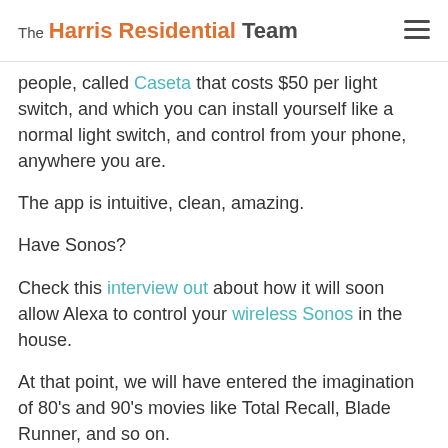The Harris Residential Team
people, called Caseta that costs $50 per light switch, and which you can install yourself like a normal light switch, and control from your phone, anywhere you are.
The app is intuitive, clean, amazing.
Have Sonos?
Check this interview out about how it will soon allow Alexa to control your wireless Sonos in the house.
At that point, we will have entered the imagination of 80's and 90's movies like Total Recall, Blade Runner, and so on.
Quite exciting.